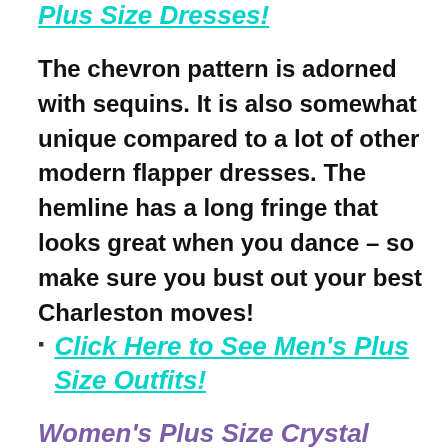Plus Size Dresses!
The chevron pattern is adorned with sequins. It is also somewhat unique compared to a lot of other modern flapper dresses. The hemline has a long fringe that looks great when you dance – so make sure you bust out your best Charleston moves!
Click Here to See Men's Plus Size Outfits!
Women's Plus Size Crystal Flapper